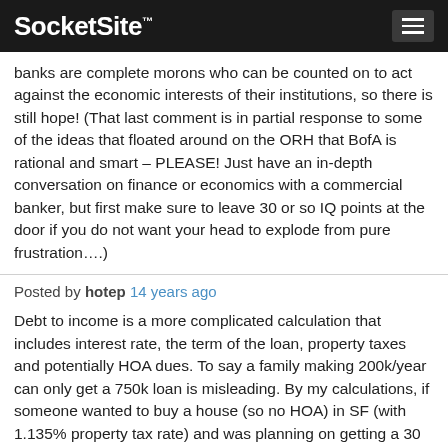SocketSite™
banks are complete morons who can be counted on to act against the economic interests of their institutions, so there is still hope! (That last comment is in partial response to some of the ideas that floated around on the ORH that BofA is rational and smart – PLEASE! Just have an in-depth conversation on finance or economics with a commercial banker, but first make sure to leave 30 or so IQ points at the door if you do not want your head to explode from pure frustration….)
Posted by hotep 14 years ago
Debt to income is a more complicated calculation that includes interest rate, the term of the loan, property taxes and potentially HOA dues. To say a family making 200k/year can only get a 750k loan is misleading. By my calculations, if someone wanted to buy a house (so no HOA) in SF (with 1.135% property tax rate) and was planning on getting a 30 year loan, then a 750k loan would be 45% DTI at an interest rate just north of 10% (which is much higher than current levels).
[Editor's Note: Good point and we've redacted that part of ex SF-er's summary.]